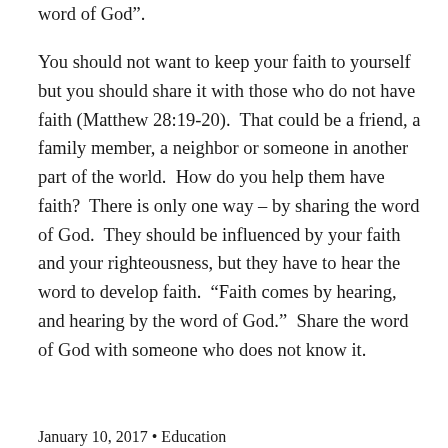word of God”.
You should not want to keep your faith to yourself but you should share it with those who do not have faith (Matthew 28:19-20). That could be a friend, a family member, a neighbor or someone in another part of the world. How do you help them have faith? There is only one way – by sharing the word of God. They should be influenced by your faith and your righteousness, but they have to hear the word to develop faith. “Faith comes by hearing, and hearing by the word of God.” Share the word of God with someone who does not know it.
January 10, 2017 • Education